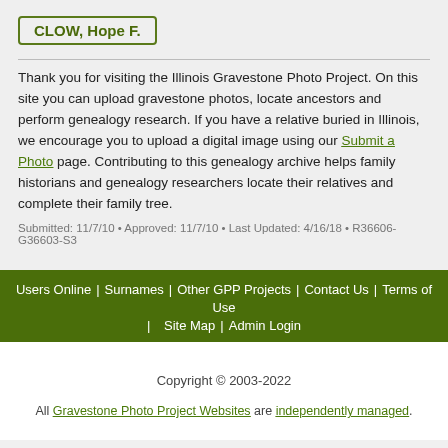CLOW, Hope F.
Thank you for visiting the Illinois Gravestone Photo Project. On this site you can upload gravestone photos, locate ancestors and perform genealogy research. If you have a relative buried in Illinois, we encourage you to upload a digital image using our Submit a Photo page. Contributing to this genealogy archive helps family historians and genealogy researchers locate their relatives and complete their family tree.
Submitted: 11/7/10 • Approved: 11/7/10 • Last Updated: 4/16/18 • R36606-G36603-S3
Users Online | Surnames | Other GPP Projects | Contact Us | Terms of Use | Site Map | Admin Login
Copyright © 2003-2022
All Gravestone Photo Project Websites are independently managed.